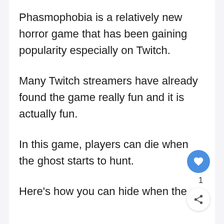Phasmophobia is a relatively new horror game that has been gaining popularity especially on Twitch.
Many Twitch streamers have already found the game really fun and it is actually fun.
In this game, players can die when the ghost starts to hunt.
Here's how you can hide when the